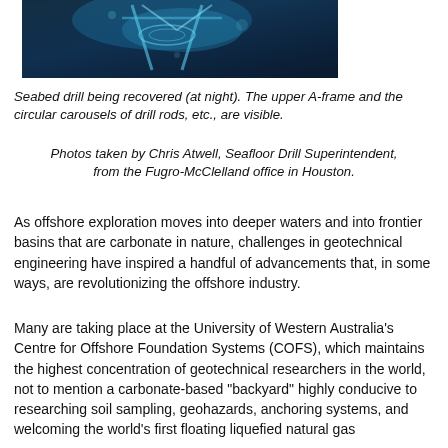[Figure (photo): Underwater photograph of seabed drill being recovered at night, showing upper A-frame and circular carousels of drill rods, blue-toned image]
Seabed drill being recovered (at night). The upper A-frame and the circular carousels of drill rods, etc., are visible.
Photos taken by Chris Atwell, Seafloor Drill Superintendent, from the Fugro-McClelland office in Houston.
As offshore exploration moves into deeper waters and into frontier basins that are carbonate in nature, challenges in geotechnical engineering have inspired a handful of advancements that, in some ways, are revolutionizing the offshore industry.
Many are taking place at the University of Western Australia's Centre for Offshore Foundation Systems (COFS), which maintains the highest concentration of geotechnical researchers in the world, not to mention a carbonate-based "backyard" highly conducive to researching soil sampling, geohazards, anchoring systems, and welcoming the world's first floating liquefied natural gas